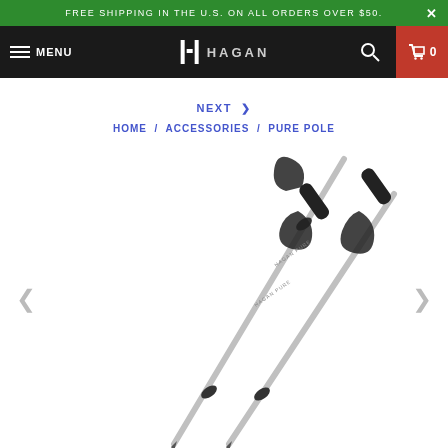FREE SHIPPING IN THE U.S. ON ALL ORDERS OVER $50.
MENU | HAGAN | Search | Cart 0
NEXT >
HOME / ACCESSORIES / PURE POLE
[Figure (photo): Two ski/trekking poles with black grips and wrist straps, silver/metallic shafts with adjustment collars, shown diagonally crossed against a white background.]